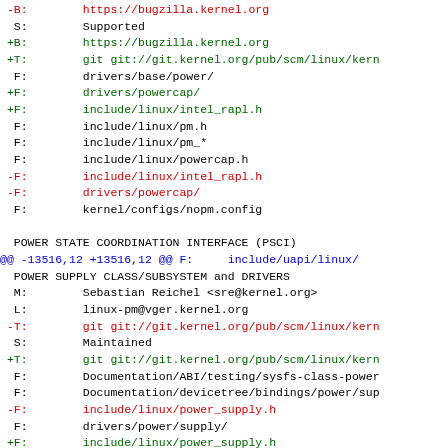diff output showing changes to MAINTAINERS file with power management sections including POWER STATE COORDINATION INTERFACE (PSCI), POWER SUPPLY CLASS/SUBSYSTEM and DRIVERS, and POWERNV OPERATOR PANEL LCD DISPLAY DRIVER